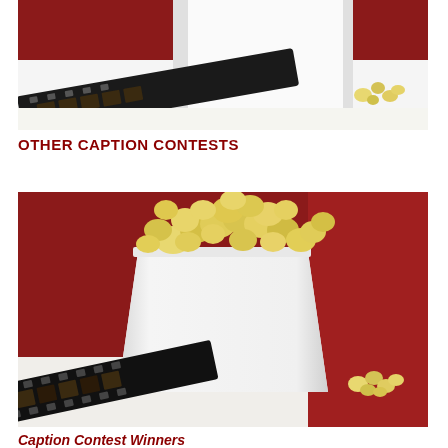[Figure (photo): Close-up photo of a white popcorn bucket with popcorn spilling out, a film strip in the foreground on the left, against a red background. Partial view cropped at top.]
OTHER CAPTION CONTESTS
[Figure (photo): Full view photo of a white popcorn bucket overflowing with yellow popcorn, with a film strip in the lower-left foreground, against a red background.]
Caption Contest Winners